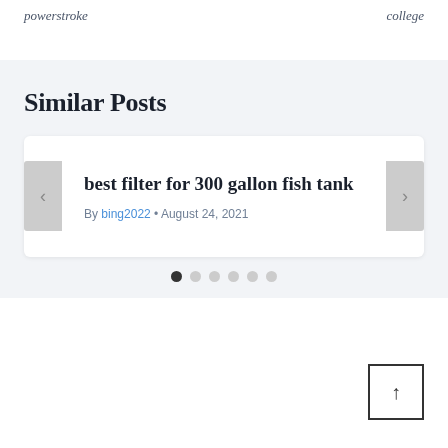powerstroke    college
Similar Posts
best filter for 300 gallon fish tank
By bing2022 • August 24, 2021